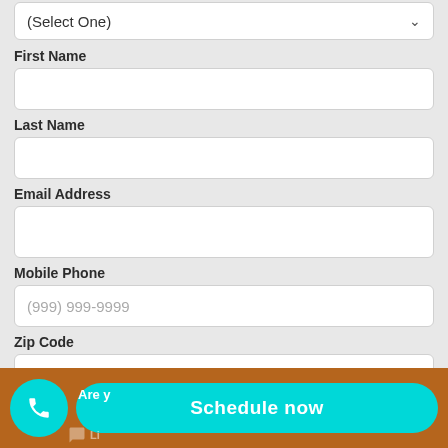[Figure (screenshot): Dropdown select field showing '(Select One)' with a chevron arrow on the right]
First Name
[Figure (screenshot): Empty text input field for First Name]
Last Name
[Figure (screenshot): Empty text input field for Last Name]
Email Address
[Figure (screenshot): Empty text input field for Email Address]
Mobile Phone
[Figure (screenshot): Text input field with placeholder '(999) 999-9999']
Zip Code
[Figure (screenshot): Empty text input field for Zip Code]
Are y
Schedule now